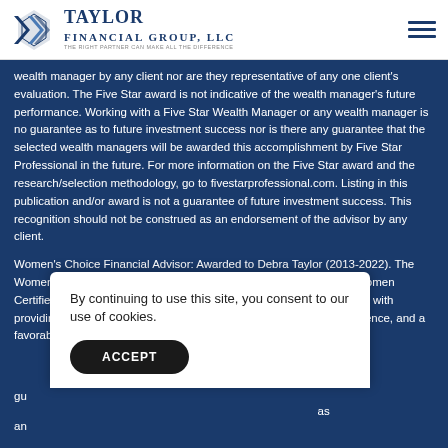Taylor Financial Group, LLC — The Right Partner Can Make All The Difference
wealth manager by any client nor are they representative of any one client's evaluation. The Five Star award is not indicative of the wealth manager's future performance. Working with a Five Star Wealth Manager or any wealth manager is no guarantee as to future investment success nor is there any guarantee that the selected wealth managers will be awarded this accomplishment by Five Star Professional in the future. For more information on the Five Star award and the research/selection methodology, go to fivestarprofessional.com. Listing in this publication and/or award is not a guarantee of future investment success. This recognition should not be construed as an endorsement of the advisor by any client.
Women's Choice Financial Advisor: Awarded to Debra Taylor (2013-2022). The Women's Choice Award Financial Advisor program was created by Women Certified Inc. The program is based on 17 objective criteria associated with providing quality service to women clients such as credentials, experience, and a favorable regulatory history. Listing in this publication and/or award is not a guarantee of future investment success. This recognition should not be construed as an endorsement of the advisor by any client.
Se...
By continuing to use this site, you consent to our use of cookies.